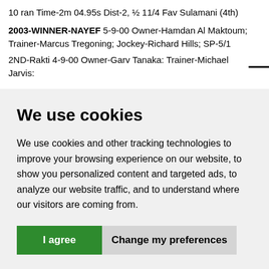10 ran Time-2m 04.95s Dist-2, ½ 11/4 Fav Sulamani (4th)
2003-WINNER-NAYEF 5-9-00 Owner-Hamdan Al Maktoum; Trainer-Marcus Tregoning; Jockey-Richard Hills; SP-5/1
2ND-Rakti 4-9-00 Owner-Garv Tanaka: Trainer-Michael Jarvis:
We use cookies
We use cookies and other tracking technologies to improve your browsing experience on our website, to show you personalized content and targeted ads, to analyze our website traffic, and to understand where our visitors are coming from.
I agree  Change my preferences